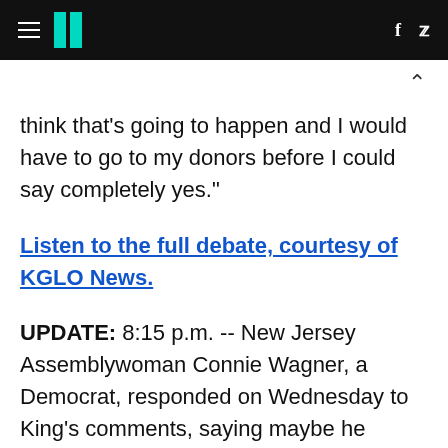HuffPost
think that's going to happen and I would have to go to my donors before I could say completely yes."
Listen to the full debate, courtesy of KGLO News.
UPDATE: 8:15 p.m. -- New Jersey Assemblywoman Connie Wagner, a Democrat, responded on Wednesday to King's comments, saying maybe he should see the aftermath of the storm in person before making such remarks.